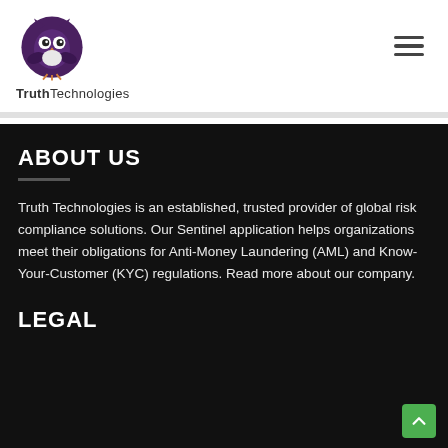[Figure (logo): Truth Technologies owl logo in purple circle with company name below]
[Figure (other): Hamburger menu icon (three horizontal lines)]
ABOUT US
Truth Technologies is an established, trusted provider of global risk compliance solutions. Our Sentinel application helps organizations meet their obligations for Anti-Money Laundering (AML) and Know-Your-Customer (KYC) regulations. Read more about our company.
LEGAL